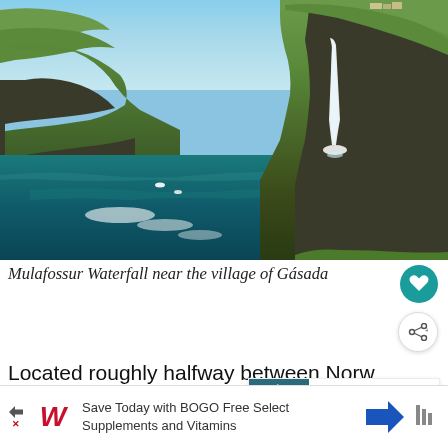[Figure (photo): Mulafossur Waterfall near the village of Gásadalur in the Faroe Islands — dramatic coastal cliffs with green tops, dark volcanic rock, a tall waterfall falling into the deep teal ocean, with sea caves and breaking waves]
Mulafossur Waterfall near the village of Gásadar
Located roughly halfway between Norway and Iceland, the Faroe Islands are made up of volcanic islands in the wild North Atlantic. They
[Figure (screenshot): WHAT'S NEXT panel: thumbnail of waterfall with text '5 Reasons to Visit Ohio in...']
[Figure (infographic): Advertisement bar: Walgreens Save Today with BOGO Free Select Supplements and Vitamins]